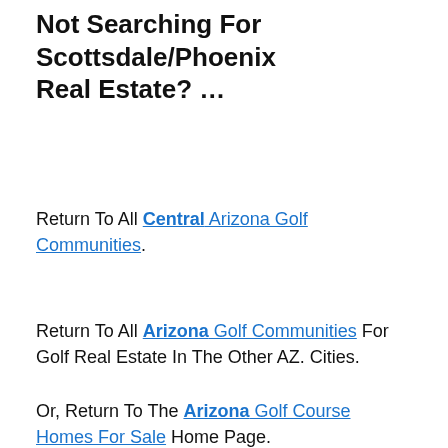Not Searching For Scottsdale/Phoenix Real Estate? …
Return To All Central Arizona Golf Communities.
Return To All Arizona Golf Communities For Golf Real Estate In The Other AZ. Cities.
Or, Return To The Arizona Golf Course Homes For Sale Home Page.